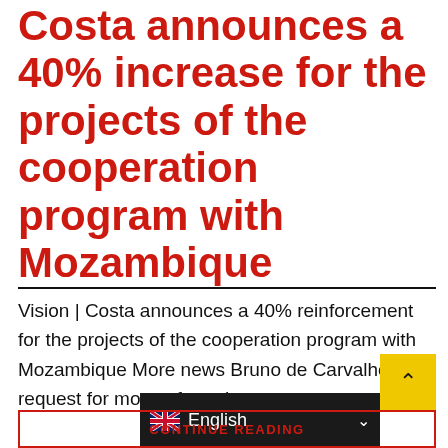Costa announces a 40% increase for the projects of the cooperation program with Mozambique
Vision | Costa announces a 40% reinforcement for the projects of the cooperation program with Mozambique More news Bruno de Carvalho on request for money from the guests
CONTINUE READING